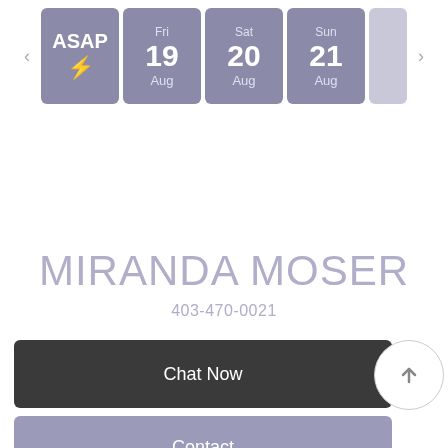[Figure (screenshot): Calendar date selector row with ASAP tile and date tiles for Fri 19 Aug, Sat 20 Aug, Sun 21 Aug, with left and right navigation arrows]
MIRANDA MOSER
403-470-0021
Chat Now
Contact